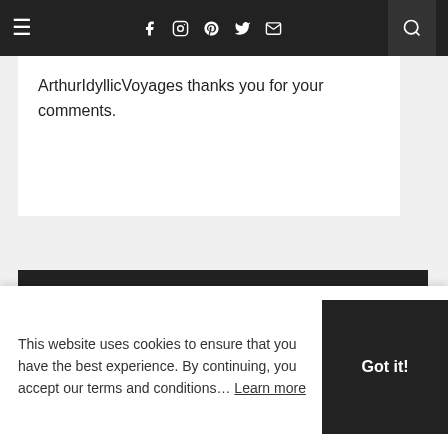≡  f  [instagram]  [pinterest]  [twitter]  [mail]  [search]
ArthurIdyllicVoyages thanks you for your comments.
BLOG ARCHIVE
► 2020 (2)
▼ 2019 (27)
▼ December (6)
Christmas in Amsterdam
This website uses cookies to ensure that you have the best experience. By continuing, you accept our terms and conditions… Learn more